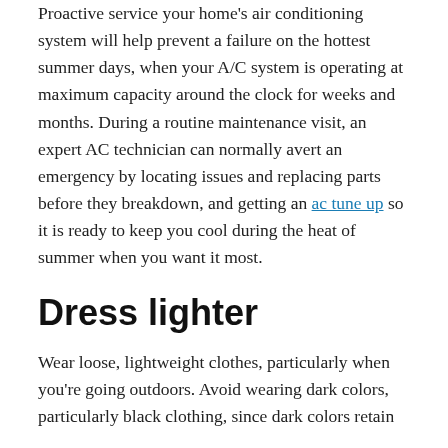Proactive service your home's air conditioning system will help prevent a failure on the hottest summer days, when your A/C system is operating at maximum capacity around the clock for weeks and months. During a routine maintenance visit, an expert AC technician can normally avert an emergency by locating issues and replacing parts before they breakdown, and getting an ac tune up so it is ready to keep you cool during the heat of summer when you want it most.
Dress lighter
Wear loose, lightweight clothes, particularly when you're going outdoors. Avoid wearing dark colors, particularly black clothing, since dark colors retain